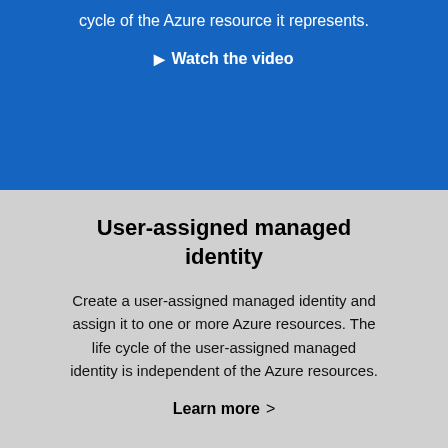cycle of the Azure resource it represents.
▶ Watch the video
User-assigned managed identity
Create a user-assigned managed identity and assign it to one or more Azure resources. The life cycle of the user-assigned managed identity is independent of the Azure resources.
Learn more >